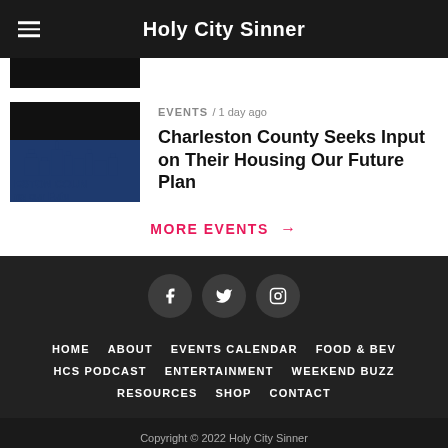Holy City Sinner
[Figure (screenshot): Partially visible article thumbnail - dark image at top]
EVENTS / 1 day ago
Charleston County Seeks Input on Their Housing Our Future Plan
[Figure (logo): Charleston County Housing Our Future logo - blue city skyline silhouette with text ESTON COUN and ng our Futu]
MORE EVENTS →
[Figure (infographic): Social media icons: Facebook, Twitter, Instagram - dark circular buttons]
HOME   ABOUT   EVENTS CALENDAR   FOOD & BEV   HCS PODCAST   ENTERTAINMENT   WEEKEND BUZZ   RESOURCES   SHOP   CONTACT
Copyright © 2022 Holy City Sinner